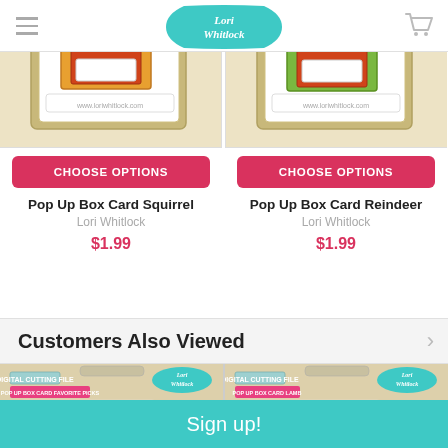Lori Whitlock
[Figure (photo): Pop Up Box Card Squirrel product image - card with tan background]
CHOOSE OPTIONS
Pop Up Box Card Squirrel
Lori Whitlock
$1.99
[Figure (photo): Pop Up Box Card Reindeer product image - card with tan background]
CHOOSE OPTIONS
Pop Up Box Card Reindeer
Lori Whitlock
$1.99
Customers Also Viewed
[Figure (photo): Pop Up Box Card Favorite Picks digital cutting file product thumbnail]
[Figure (photo): Pop Up Box Card Lamb digital cutting file product thumbnail]
Sign up!